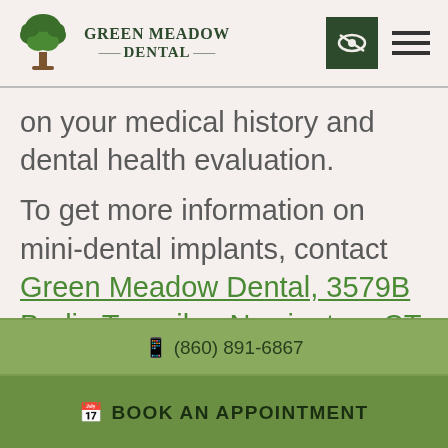Green Meadow Dental
on your medical history and dental health evaluation.
To get more information on mini-dental implants, contact Green Meadow Dental, 3579B Berlin Turnpike, Newington, CT 06111, or call: (860)-891-6867. Many people from Rocky Hill come to our office because
(860) 891-6867
BOOK AN APPOINTMENT